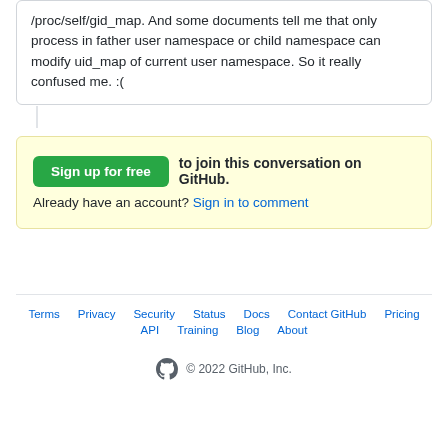/proc/self/gid_map. And some documents tell me that only process in father user namespace or child namespace can modify uid_map of current user namespace. So it really confused me. :(
Sign up for free to join this conversation on GitHub. Already have an account? Sign in to comment
Terms · Privacy · Security · Status · Docs · Contact GitHub · Pricing · API · Training · Blog · About · © 2022 GitHub, Inc.